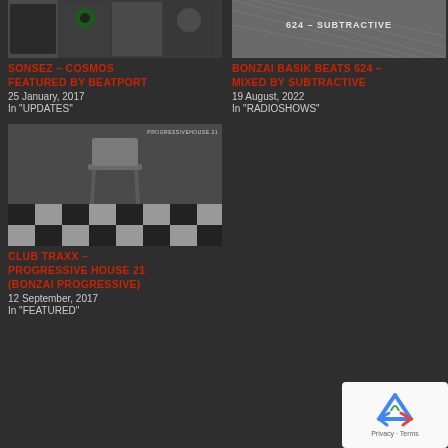[Figure (photo): Thumbnail image for Sonsez Cosmos featuring Beatport record covers]
SONSEZ – COSMOS FEATURED BY BEATPORT
25 January, 2017
In "UPDATES"
[Figure (photo): Thumbnail image for Bonzai Basik Beats 624 - Subtractive, dark graphic with text]
BONZAI BASIK BEATS 624 – MIXED BY SUBTRACTIVE
19 August, 2022
In "RADIOSHOWS"
[Figure (photo): Album cover showing an antique chair on a black and white checkered floor against a dark wall, with PROGRESSIVEHOUSE.21 watermark]
CLUB TRAXX – PROGRESSIVE HOUSE 21 (BONZAI PROGRESSIVE)
12 September, 2017
In "FEATURED"
[Figure (logo): reCAPTCHA widget with Privacy and Terms links]